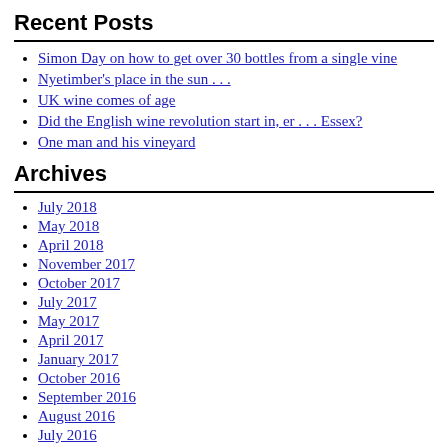Recent Posts
Simon Day on how to get over 30 bottles from a single vine
Nyetimber's place in the sun . . .
UK wine comes of age
Did the English wine revolution start in, er . . . Essex?
One man and his vineyard
Archives
July 2018
May 2018
April 2018
November 2017
October 2017
July 2017
May 2017
April 2017
January 2017
October 2016
September 2016
August 2016
July 2016
June 2016